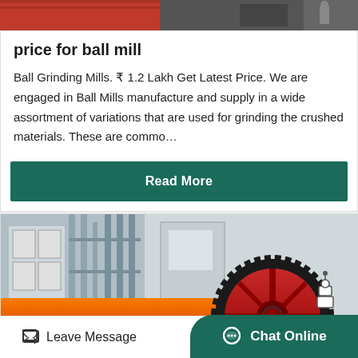[Figure (photo): Top portion of an industrial ball mill or machinery image showing red cylindrical equipment]
price for ball mill
Ball Grinding Mills. ₹ 1.2 Lakh Get Latest Price. We are engaged in Ball Mills manufacture and supply in a wide assortment of variations that are used for grinding the crushed materials. These are commo…
Read More
[Figure (photo): Industrial orange/red ball mill with large black gear wheel in a factory setting]
Leave Message   Chat Online